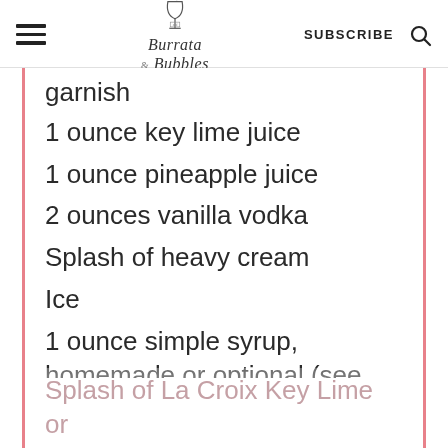Burrata and Bubbles — SUBSCRIBE
garnish
1 ounce key lime juice
1 ounce pineapple juice
2 ounces vanilla vodka
Splash of heavy cream
Ice
1 ounce simple syrup, homemade or optional (see note)
Splash of La Croix Key Lime or